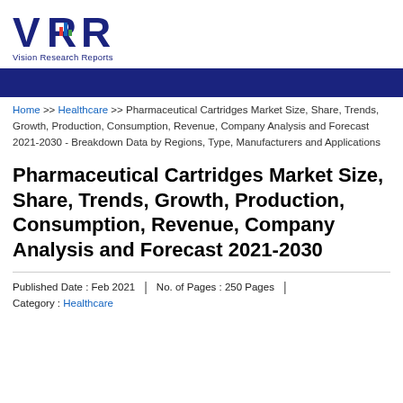[Figure (logo): VRR - Vision Research Reports logo with bar chart icon]
Home >> Healthcare >> Pharmaceutical Cartridges Market Size, Share, Trends, Growth, Production, Consumption, Revenue, Company Analysis and Forecast 2021-2030 - Breakdown Data by Regions, Type, Manufacturers and Applications
Pharmaceutical Cartridges Market Size, Share, Trends, Growth, Production, Consumption, Revenue, Company Analysis and Forecast 2021-2030
Published Date : Feb 2021 | No. of Pages : 250 Pages |
Category : Healthcare